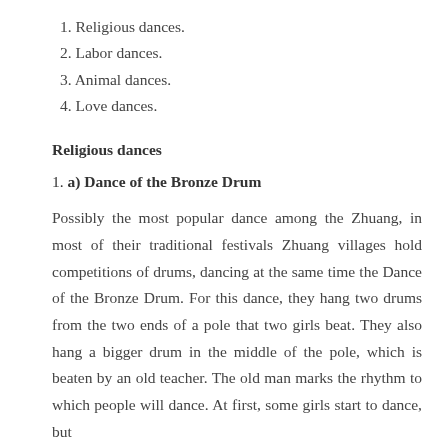1. Religious dances.
2. Labor dances.
3. Animal dances.
4. Love dances.
Religious dances
1. a) Dance of the Bronze Drum
Possibly the most popular dance among the Zhuang, in most of their traditional festivals Zhuang villages hold competitions of drums, dancing at the same time the Dance of the Bronze Drum. For this dance, they hang two drums from the two ends of a pole that two girls beat. They also hang a bigger drum in the middle of the pole, which is beaten by an old teacher. The old man marks the rhythm to which people will dance. At first, some girls start to dance, but